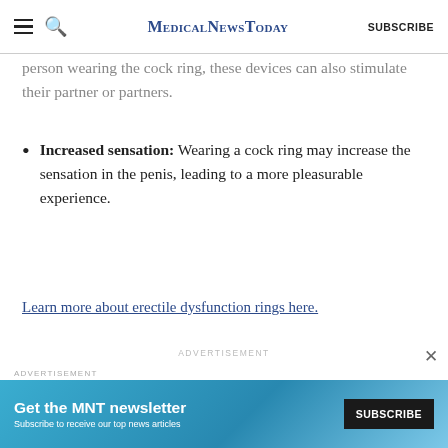MedicalNewsToday  SUBSCRIBE
person wearing the cock ring, these devices can also stimulate their partner or partners.
Increased sensation: Wearing a cock ring may increase the sensation in the penis, leading to a more pleasurable experience.
Learn more about erectile dysfunction rings here.
ADVERTISEMENT
ADVERTISEMENT
[Figure (screenshot): Newsletter subscription banner: 'Get the MNT newsletter - Subscribe to receive our top news articles' with a SUBSCRIBE button]